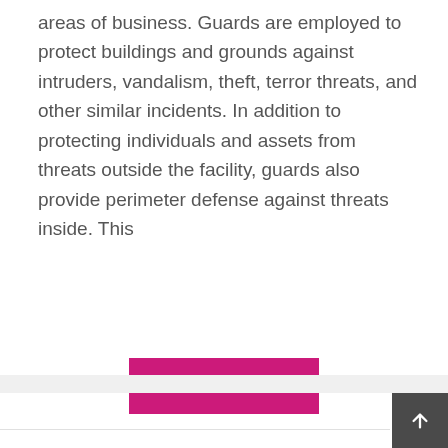areas of business. Guards are employed to protect buildings and grounds against intruders, vandalism, theft, terror threats, and other similar incidents. In addition to protecting individuals and assets from threats outside the facility, guards also provide perimeter defense against threats inside. This
Read More